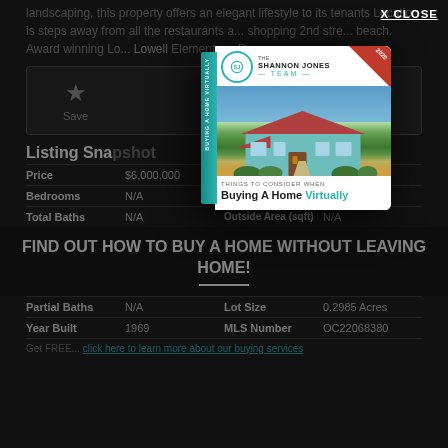landscaping, this property offers an elegant lifestyle to its tenants Location is steps away from all the restaurants and shopping 2nd street, beach. Award winning Lo... Lowell Elementary, Roge...
[Figure (illustration): Pop-up modal showing a book cover for 'Things to Consider When Buying A Home Virtually' by The Shannon Jones Team, 2020, featuring a house photo on the cover with teal and white design.]
X CLOSE
Save
Share
Listing Snapshot
| Price | $6,000,000 | Days Online | 137 Days |
| --- | --- | --- | --- |
| Bedrooms | N/A | Inside Area (sqft) | 11,187 sqft |
| Total Baths | N/A | Outside Area (sqft) | N/A |
| Partial Baths | N/A | Lot Size | 0.2985 Acres |
| Year Built | 1969 | MLS Number | OC22068380 |
FIND OUT HOW TO BUY A HOME WITHOUT LEAVING HOME!